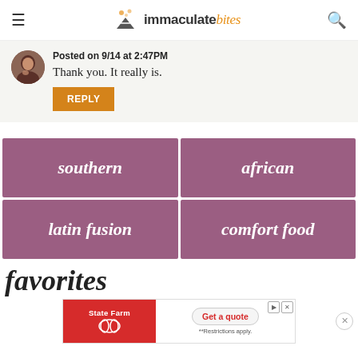immaculate bites
Posted on 9/14 at 2:47PM
Thank you. It really is.
REPLY
southern
african
latin fusion
comfort food
favorites